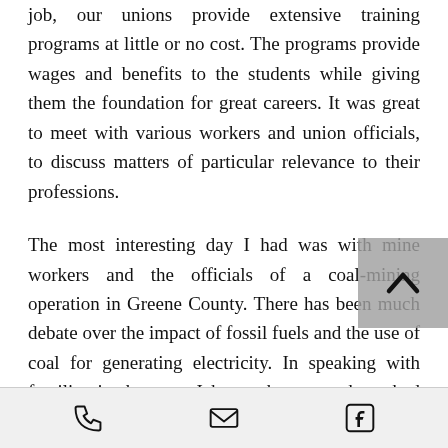job, our unions provide extensive training programs at little or no cost. The programs provide wages and benefits to the students while giving them the foundation for great careers. It was great to meet with various workers and union officials, to discuss matters of particular relevance to their professions.
The most interesting day I had was with mine workers and the officials of a coal-mining operation in Greene County. There has been much debate over the impact of fossil fuels and the use of coal for generating electricity. In speaking with families in the area, I know that many have had coal miners in their
[phone icon] [email icon] [facebook icon]